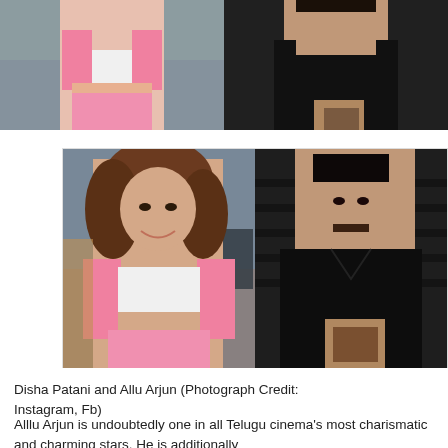[Figure (photo): Top strip: Two photos side by side — left shows a woman in pink crop top (partial, cropped at top), right shows a man in black shirt (partial, cropped at top)]
[Figure (photo): Main photo panel: Left — Disha Patani smiling, wearing pink jacket and white crop top, curly hair; Right — Allu Arjun in black shirt, dark background]
Disha Patani and Allu Arjun (Photograph Credit: Instagram, Fb)
Alllu Arjun is undoubtedly one in all Telugu cinema's most charismatic and charming stars. He is additionally